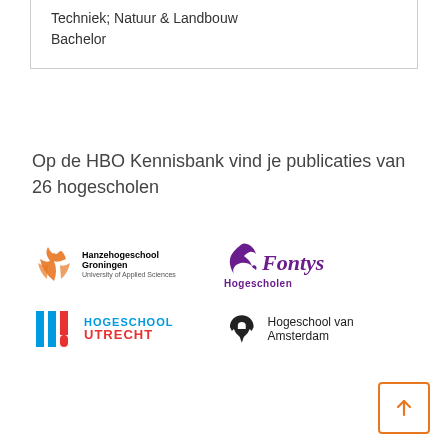Techniek; Natuur & Landbouw
Bachelor
Op de HBO Kennisbank vind je publicaties van 26 hogescholen
[Figure (logo): Hanzehogeschool Groningen, University of Applied Sciences logo with orange phoenix bird icon]
[Figure (logo): Fontys Hogescholen logo in purple with stylized bird/dolphin icon]
[Figure (logo): Hogeschool Utrecht logo with blue and red HU lettering]
[Figure (logo): Hogeschool van Amsterdam logo with black helmet/warrior icon]